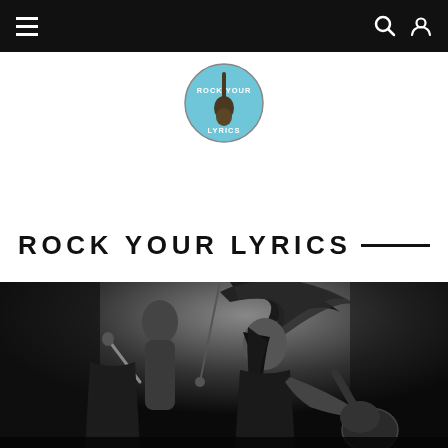Navigation bar with hamburger menu, search icon, and user icon
[Figure (logo): Rock Your Lyrics circular logo with guitar silhouette on light blue background]
ROCK YOUR LYRICS
[Figure (photo): Black and white concert photo of a person playing guitar with long hair flying, on stage]